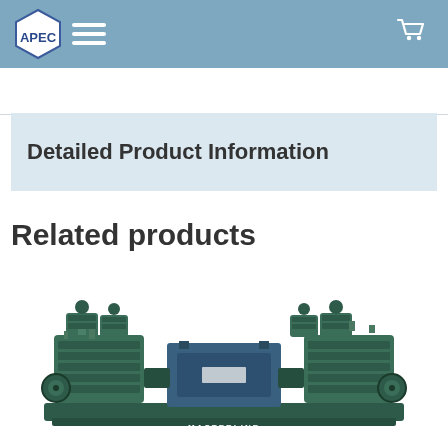APEC navigation bar with logo, hamburger menu, and cart icon
Detailed Product Information
Related products
[Figure (photo): Industrial air compressor unit labeled MASTERLINE, showing a green dual-head compressor with central motor/drive unit mounted on a base frame.]